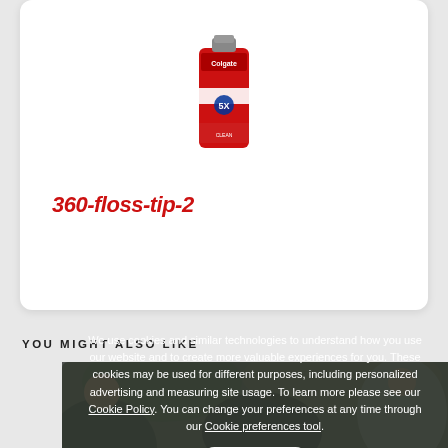[Figure (photo): Colgate toothpaste product image - red tube with '5X' branding]
360-floss-tip-2
YOU MIGHT ALSO LIKE
[Figure (photo): Background photo of family/people outdoors with cookie consent overlay]
We use cookies and similar technologies to understand how you use our website and to create more valuable experiences for you. These cookies may be used for different purposes, including personalized advertising and measuring site usage. To learn more please see our Cookie Policy. You can change your preferences at any time through our Cookie preferences tool.